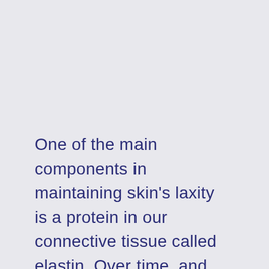One of the main components in maintaining skin's laxity is a protein in our connective tissue called elastin. Over time, and due to environmental factors, our body starts to produce less of it, which in turn makes...